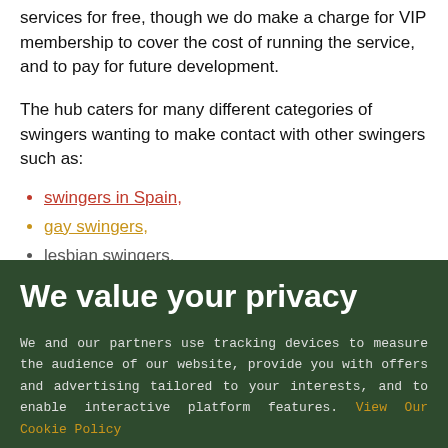services for free, though we do make a charge for VIP membership to cover the cost of running the service, and to pay for future development.
The hub caters for many different categories of swingers wanting to make contact with other swingers such as:
swingers in Spain,
gay swingers,
lesbian swingers,
We value your privacy
We and our partners use tracking devices to measure the audience of our website, provide you with offers and advertising tailored to your interests, and to enable interactive platform features. View Our Cookie Policy
Yes, I agree
If you do not agree, please discontinue use of the site
Couple
Female